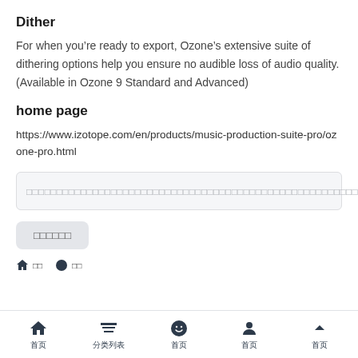Dither
For when you’re ready to export, Ozone’s extensive suite of dithering options help you ensure no audible loss of audio quality. (Available in Ozone 9 Standard and Advanced)
home page
https://www.izotope.com/en/products/music-production-suite-pro/ozone-pro.html
[Figure (screenshot): Input field with placeholder text (garbled/CJK characters)]
[Figure (screenshot): Gray button with garbled/CJK label text]
首页 | 分类列表 | 首页 | 首页 | 首页